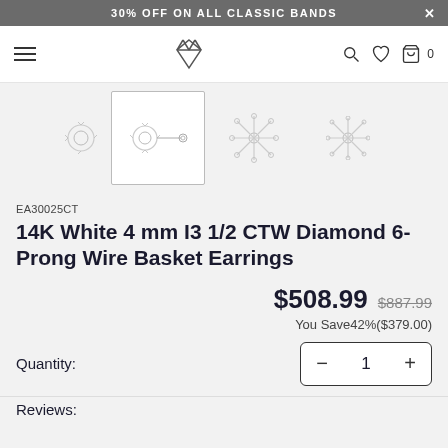30% OFF ON ALL CLASSIC BANDS
[Figure (screenshot): Navigation bar with hamburger menu, diamond logo, search, heart/wishlist, and cart icons]
[Figure (photo): Four product images of diamond stud earrings: two close-up views of the earring from different angles, and two front-facing snowflake-style views]
EA30025CT
14K White 4 mm I3 1/2 CTW Diamond 6-Prong Wire Basket Earrings
$508.99  $887.99
You Save42%($379.00)
Quantity:  1
Reviews: